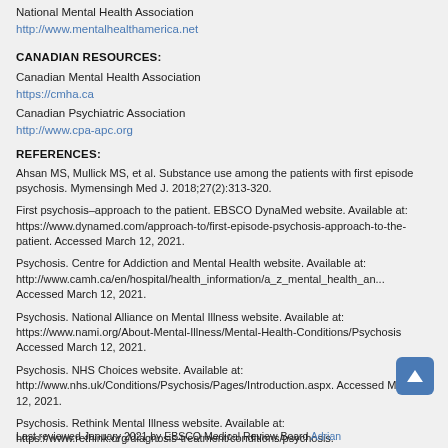National Mental Health Association
http://www.mentalhealthamerica.net
CANADIAN RESOURCES:
Canadian Mental Health Association
https://cmha.ca
Canadian Psychiatric Association
http://www.cpa-apc.org
REFERENCES:
Ahsan MS, Mullick MS, et al. Substance use among the patients with first episode psychosis. Mymensingh Med J. 2018;27(2):313-320.
First psychosis–approach to the patient. EBSCO DynaMed website. Available at: https://www.dynamed.com/approach-to/first-episode-psychosis-approach-to-the-patient. Accessed March 12, 2021.
Psychosis. Centre for Addiction and Mental Health website. Available at: http://www.camh.ca/en/hospital/health_information/a_z_mental_health_an... Accessed March 12, 2021.
Psychosis. National Alliance on Mental Illness website. Available at: https://www.nami.org/About-Mental-Illness/Mental-Health-Conditions/Psychosis Accessed March 12, 2021.
Psychosis. NHS Choices website. Available at: http://www.nhs.uk/Conditions/Psychosis/Pages/Introduction.aspx. Accessed March 12, 2021.
Psychosis. Rethink Mental Illness website. Available at: https://www.rethink.org/diagnosis-treatment/conditions/psychosis. Accessed March 12, 2021.
Last reviewed January 2021 by EBSCO Medical Review Board Adrian